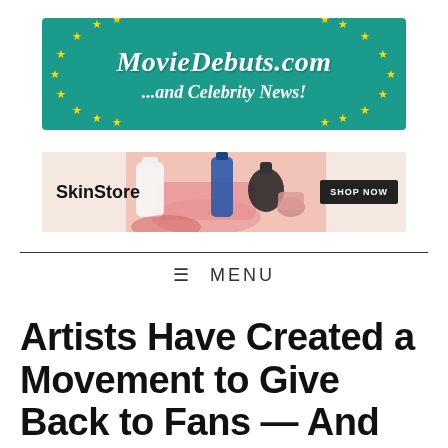[Figure (logo): MovieDebuts.com and Celebrity News! logo banner — teal/green background with yellow stars arranged in a circle pattern on left and right sides, white italic serif text]
[Figure (infographic): SkinStore advertisement banner with beauty/skincare product images (bottles, jars in pink/red tones), 'SkinStore' text on left, 'SHOP NOW' black button on right]
≡ MENU
Artists Have Created a Movement to Give Back to Fans — And It's Sweetl